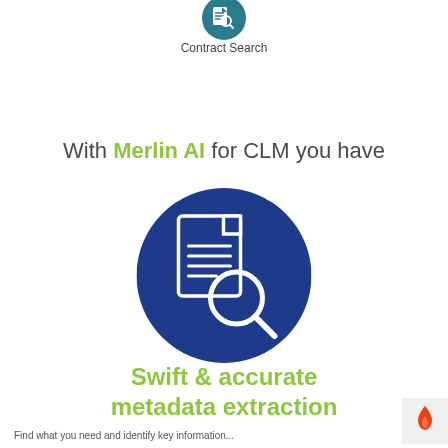[Figure (logo): Teal circular icon with a document/contract and search magnifier symbol, labeled Contract Search]
Contract Search
With Merlin AI for CLM you have
[Figure (illustration): Large dark blue circle with white document and magnifying glass icon representing contract search functionality]
Swift & accurate metadata extraction
Find what you need and identify key information...